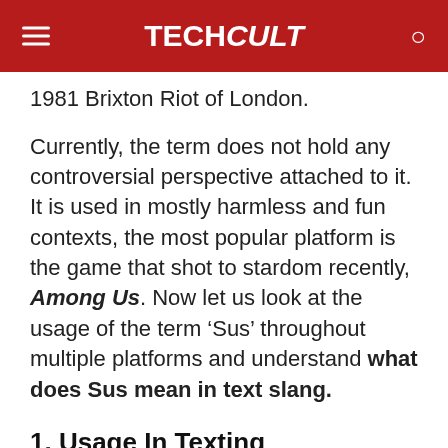TECHCult
1981 Brixton Riot of London.
Currently, the term does not hold any controversial perspective attached to it. It is used in mostly harmless and fun contexts, the most popular platform is the game that shot to stardom recently, Among Us. Now let us look at the usage of the term ‘Sus’ throughout multiple platforms and understand what does Sus mean in text slang.
1. Usage In Texting
The term ‘Sus’ is now a part of our